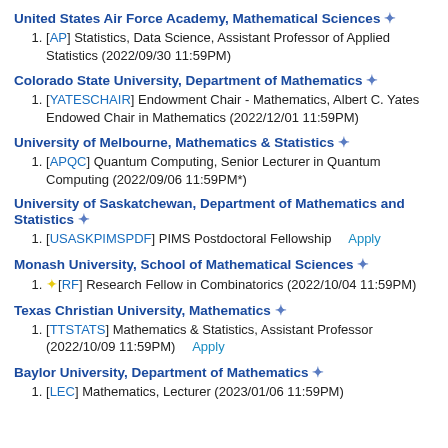United States Air Force Academy, Mathematical Sciences #
[AP] Statistics, Data Science, Assistant Professor of Applied Statistics (2022/09/30 11:59PM)
Colorado State University, Department of Mathematics #
[YATESCHAIR] Endowment Chair - Mathematics, Albert C. Yates Endowed Chair in Mathematics (2022/12/01 11:59PM)
University of Melbourne, Mathematics & Statistics #
[APQC] Quantum Computing, Senior Lecturer in Quantum Computing (2022/09/06 11:59PM*)
University of Saskatchewan, Department of Mathematics and Statistics #
[USASKPIMSPDF] PIMS Postdoctoral Fellowship  Apply
Monash University, School of Mathematical Sciences #
★[RF] Research Fellow in Combinatorics (2022/10/04 11:59PM)
Texas Christian University, Mathematics #
[TTSTATS] Mathematics & Statistics, Assistant Professor (2022/10/09 11:59PM)  Apply
Baylor University, Department of Mathematics #
[LEC] Mathematics, Lecturer (2023/01/06 11:59PM)